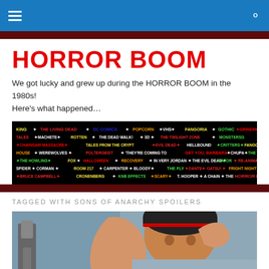Navigation bar with hamburger menu and search icon
HORROR BOOM
We got lucky and grew up during the HORROR BOOM in the 1980s! Here's what happened…
[Figure (infographic): Black banner image with colorful text listing horror-related names, movies, magazines, and shows in red, green, yellow, and white text on a black background.]
TAGGED WITH SONS OF ANARCHY SPOILERS
[Figure (photo): Photo of a person wearing a dark knit beanie with red stripe, with another object visible on the left side of frame.]